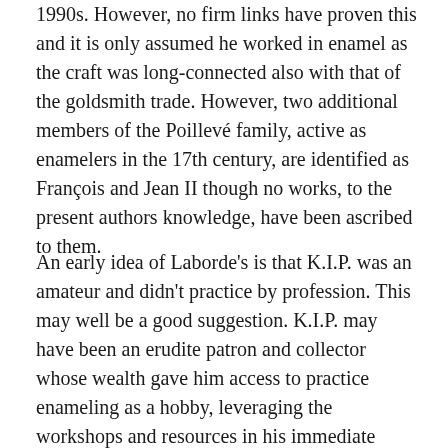1990s. However, no firm links have proven this and it is only assumed he worked in enamel as the craft was long-connected also with that of the goldsmith trade. However, two additional members of the Poillevé family, active as enamelers in the 17th century, are identified as François and Jean II though no works, to the present authors knowledge, have been ascribed to them.
An early idea of Laborde's is that K.I.P. was an amateur and didn't practice by profession. This may well be a good suggestion. K.I.P. may have been an erudite patron and collector whose wealth gave him access to practice enameling as a hobby, leveraging the workshops and resources in his immediate vicinity. It may also account for his access to what would have been upper-class collectibles like plaquettes. A love for